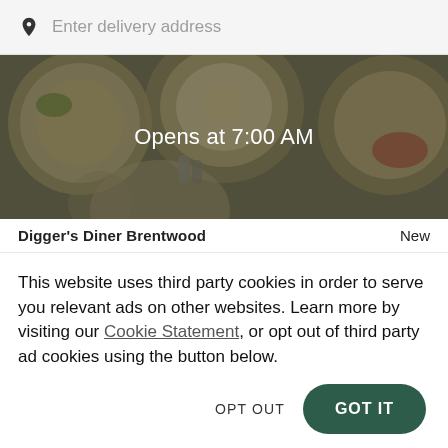Enter delivery address
[Figure (photo): Overhead food photo showing plates of food with the overlay text 'Opens at 7:00 AM']
Digger's Diner  Brentwood   New
This website uses third party cookies in order to serve you relevant ads on other websites. Learn more by visiting our Cookie Statement, or opt out of third party ad cookies using the button below.
OPT OUT
GOT IT